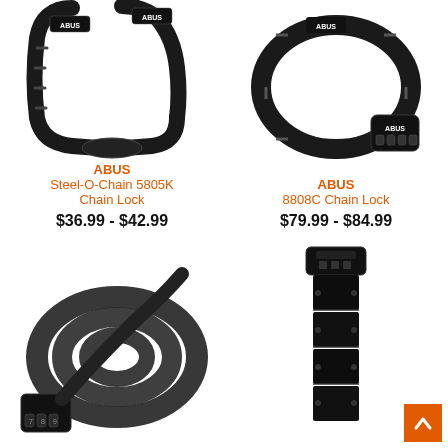[Figure (photo): ABUS Steel-O-Chain 5805K Chain Lock product photo - black chain lock coiled]
ABUS
Steel-O-Chain 5805K
Chain Lock
$36.99 - $42.99
[Figure (photo): ABUS 8808C Chain Lock product photo - black chain formed in circle with combination lock]
ABUS
8808C Chain Lock
$79.99 - $84.99
[Figure (photo): ABUS cable lock with combination dial, coiled spiral cable lock product photo]
[Figure (photo): ABUS folding lock - black, vertical folding bar lock product photo]